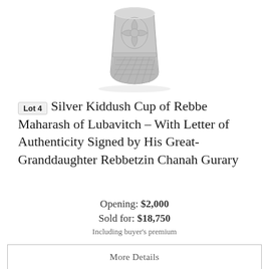[Figure (photo): Silver Kiddush Cup, ornately engraved with floral and geometric patterns, photographed against a white background, shown from slightly above.]
Lot 4  Silver Kiddush Cup of Rebbe Maharash of Lubavitch – With Letter of Authenticity Signed by His Great-Granddaughter Rebbetzin Chanah Gurary
Opening: $2,000
Sold for: $18,750
Including buyer's premium
More Details